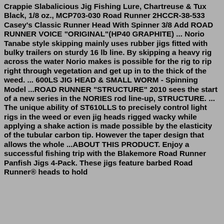Crappie Slabalicious Jig Fishing Lure, Chartreuse & Tux Black, 1/8 oz., MCP703-030 Road Runner 2HCCR-38-533 Casey's Classic Runner Head With Spinner 3/8 Add ROAD RUNNER VOICE "ORIGINAL"(HP40 GRAPHITE) ... Norio Tanabe style skipping mainly uses rubber jigs fitted with bulky trailers on sturdy 16 lb line. By skipping a heavy rig across the water Norio makes is possible for the rig to rip right through vegetation and get up in to the thick of the weed. ... 600LS JIG HEAD & SMALL WORM - Spinning Model ...ROAD RUNNER "STRUCTURE" 2010 sees the start of a new series in the NORIES rod line-up, STRUCTURE. ... The unique ability of ST610LLS to precisely control light rigs in the weed or even jig heads rigged wacky while applying a shake action is made possible by the elasticity of the tubular carbon tip. However the taper design that allows the whole ...ABOUT THIS PRODUCT. Enjoy a successful fishing trip with the Blakemore Road Runner Panfish Jigs 4-Pack. These jigs feature barbed Road Runner® heads to hold